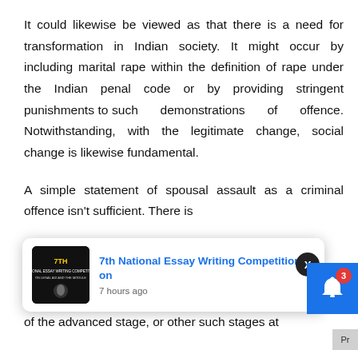It could likewise be viewed as that there is a need for transformation in Indian society. It might occur by including marital rape within the definition of rape under the Indian penal code or by providing stringent punishments to such demonstrations of offence. Notwithstanding, with the legitimate change, social change is likewise fundamental.
A simple statement of spousal assault as a criminal offence isn't sufficient. There is majority. It through beginning of workshops or with the assist of the advanced stage, or other such stages at
[Figure (screenshot): Notification popup showing '7th National Essay Writing Competition on' with timestamp '7 hours ago' and a thumbnail image. An X close button overlays the center. A blue bell icon with red badge showing '3' appears at bottom right.]